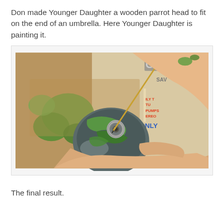Don made Younger Daughter a wooden parrot head to fit on the end of an umbrella. Here Younger Daughter is painting it.
[Figure (photo): A child's hands painting a wooden parrot head with a fine brush. The parrot head is painted grey and green. The hands hold the carved wooden bird head and a thin gold-handled paintbrush applies green paint near the eye. The background shows newspaper and paint-covered work surface with green paint visible.]
The final result.